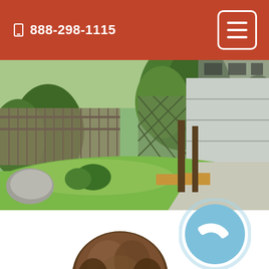888-298-1115
[Figure (photo): Suburban home front yard with green lawn, decorative trees, wooden fence, stone pillar, and garage door]
[Figure (illustration): Light blue circle with white telephone handset icon — call/contact button]
[Figure (photo): Top of a person's head with brown hair, partially visible]